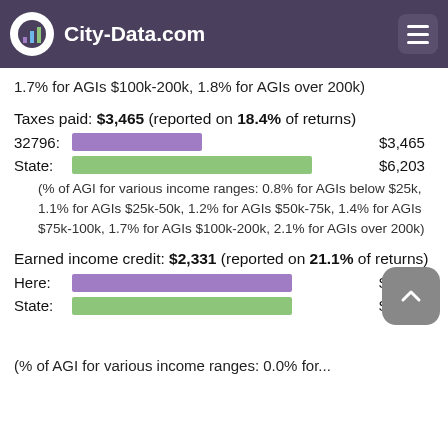City-Data.com
(% of AGI for various income ranges: 0.8% for AGIs below $25k, 1.0% for AGIs $25k-50k, 1.3% for AGIs $50k-75k, 1.6% for AGIs $75k-100k, 1.7% for AGIs $100k-200k, 1.8% for AGIs over 200k)
Taxes paid: $3,465 (reported on 18.4% of returns)
[Figure (bar-chart): Taxes paid comparison]
(% of AGI for various income ranges: 0.8% for AGIs below $25k, 1.1% for AGIs $25k-50k, 1.2% for AGIs $50k-75k, 1.4% for AGIs $75k-100k, 1.7% for AGIs $100k-200k, 2.1% for AGIs over 200k)
Earned income credit: $2,331 (reported on 21.1% of returns)
[Figure (bar-chart): Earned income credit comparison]
(% of AGI for various income ranges: 0.0% for...